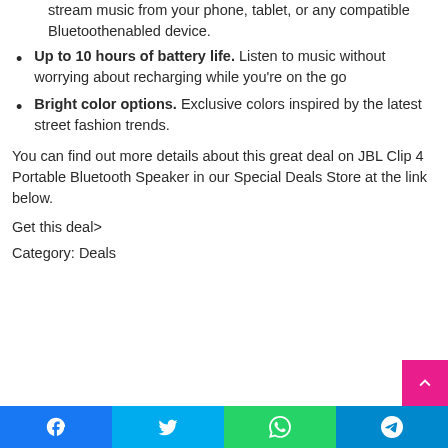stream music from your phone, tablet, or any compatible Bluetoothenabled device.
Up to 10 hours of battery life. Listen to music without worrying about recharging while you're on the go
Bright color options. Exclusive colors inspired by the latest street fashion trends.
You can find out more details about this great deal on JBL Clip 4 Portable Bluetooth Speaker in our Special Deals Store at the link below.
Get this deal>
Category: Deals